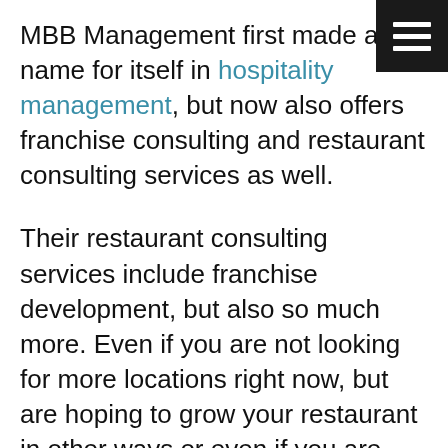MBB Management first made a name for itself in hospitality management, but now also offers franchise consulting and restaurant consulting services as well.
Their restaurant consulting services include franchise development, but also so much more. Even if you are not looking for more locations right now, but are hoping to grow your restaurant in other ways or even if you are just starting out with your first restaurant, MBB Management can help.
MBB's experienced restaurant consultants can help re-teach your staff basic restaurant techniques and help you streamline processes both in the kitchen and in the dining room. Some of their restaurant consulting services include menu design, staff training and food distribution. They can also help